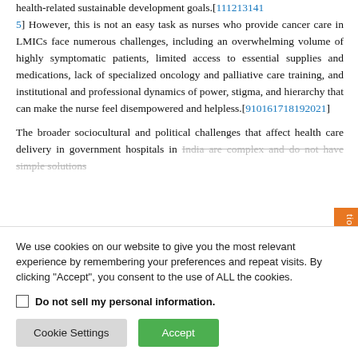health-related sustainable development goals.[111213141 5] However, this is not an easy task as nurses who provide cancer care in LMICs face numerous challenges, including an overwhelming volume of highly symptomatic patients, limited access to essential supplies and medications, lack of specialized oncology and palliative care training, and institutional and professional dynamics of power, stigma, and hierarchy that can make the nurse feel disempowered and helpless.[910161718192021]
The broader sociocultural and political challenges that affect health care delivery in government hospitals in India are complex and do not have simple solutions...
We use cookies on our website to give you the most relevant experience by remembering your preferences and repeat visits. By clicking "Accept", you consent to the use of ALL the cookies.
Do not sell my personal information.